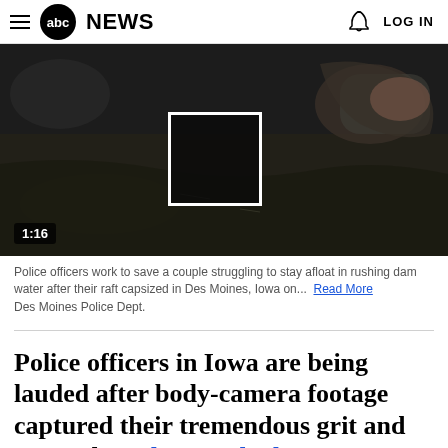abc NEWS  LOG IN
[Figure (photo): Dark body-camera video footage showing police officers working to save a couple in rushing dam water. A white square box is highlighted in the center of the frame. A timestamp of 1:16 is visible in the bottom left.]
Police officers work to save a couple struggling to stay afloat in rushing dam water after their raft capsized in Des Moines, Iowa on... Read More Des Moines Police Dept.
Police officers in Iowa are being lauded after body-camera footage captured their tremendous grit and strength as they worked